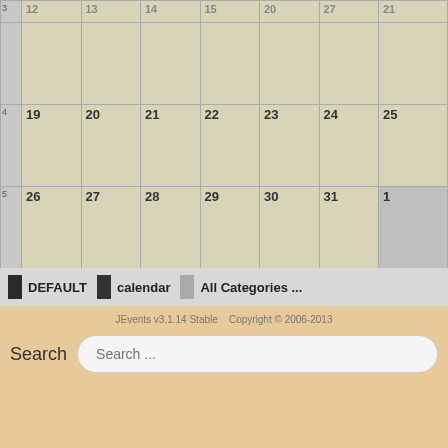[Figure (other): Bottom portion of a monthly calendar grid showing weeks with dates 12-1 (partial top row), 19-25, 26-31 and 1 (grayed out). Week numbers 3, 4, 5 shown on left.]
DEFAULT  calendar  All Categories ...
JEvents v3.1.14 Stable    Copyright © 2006-2013
Search